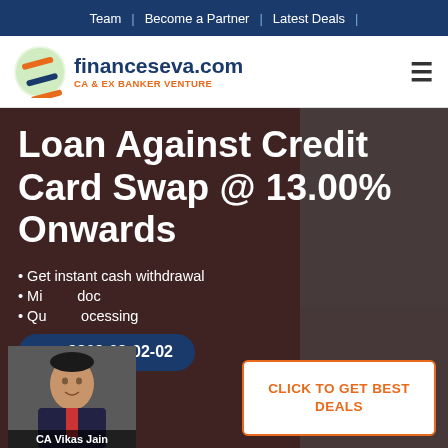Team | Become a Partner | Latest Deals |
[Figure (logo): financeseva.com logo with FS icon, tagline CA & EX BANKER VENTURE]
Loan Against Credit Card Swap @ 13.00% Onwards
Get instant cash withdrawal
Minimal documentation
Quick processing
9863-02-02-02
[Figure (photo): Portrait photo of CA Vikas Jain in suit with name label]
CLICK TO GET BEST DEALS